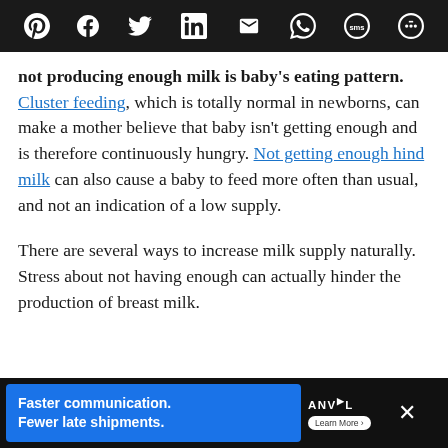[Social share bar: Pinterest, Facebook, Twitter, LinkedIn, Email, WhatsApp, SMS, More]
not producing enough milk is baby's eating pattern.  Cluster feeding, which is totally normal in newborns, can make a mother believe that baby isn't getting enough and is therefore continuously hungry.  Not getting enough hind milk can also cause a baby to feed more often than usual, and not an indication of a low supply.
There are several ways to increase milk supply naturally.  Stress about not having enough can actually hinder the production of breast milk.
Ad: Faster communication. Fewer late shipments. ANVL Learn More